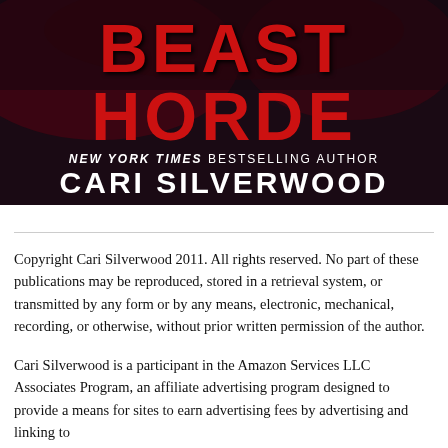[Figure (illustration): Book cover for 'Beast Horde' by New York Times Bestselling Author Cari Silverwood. Dark background with red and white title text and author name.]
Copyright Cari Silverwood 2011. All rights reserved. No part of these publications may be reproduced, stored in a retrieval system, or transmitted by any form or by any means, electronic, mechanical, recording, or otherwise, without prior written permission of the author.
Cari Silverwood is a participant in the Amazon Services LLC Associates Program, an affiliate advertising program designed to provide a means for sites to earn advertising fees by advertising and linking to